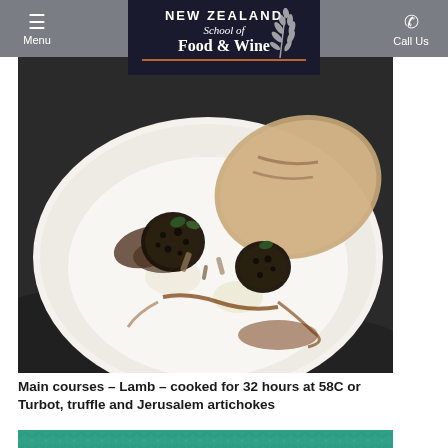Menu | New Zealand School of Food & Wine | Call Us
[Figure (photo): A gourmet plated dish on a white plate: pan-seared fish (turbot) with black truffle slices, mushrooms, Jerusalem artichoke purée, and brown sauce, on a dark marble surface.]
Main courses – Lamb – cooked for 32 hours at 58C or Turbot, truffle and Jerusalem artichokes
[Figure (photo): Bottom portion of another plated dish visible, showing a teal/turquoise textured surface.]